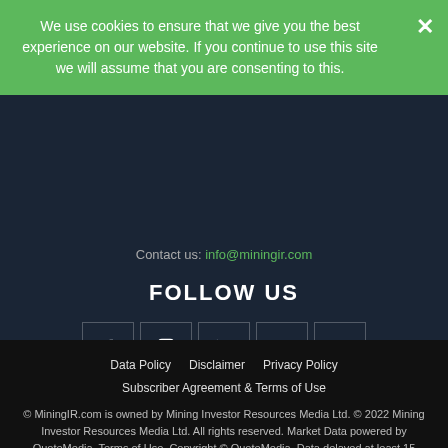We use cookies to ensure that we give you the best experience on our website. If you continue to use this site we will assume that you are consenting to this.
Contact us: info@miningir.com
FOLLOW US
[Figure (infographic): Row of five social media icon buttons: Facebook, Instagram, LinkedIn, Twitter, YouTube]
Data Policy   Disclaimer   Privacy Policy   Subscriber Agreement & Terms of Use   © MiningIR.com is owned by Mining Investor Resources Media Ltd. © 2022 Mining Investor Resources Media Ltd. All rights reserved. Market Data powered by QuoteMedia. Terms of Use. Copyright © QuoteMedia. Data delayed at least 15 minutes unless otherwise indicated. RT Real-